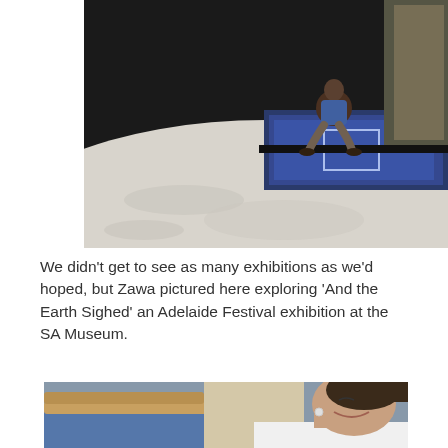[Figure (photo): A person crouching on a large illuminated floor installation showing a sandy/dusty surface with blue light projection in the background. Dark room setting.]
We didn't get to see as many exhibitions as we'd hoped, but Zawa pictured here exploring 'And the Earth Sighed' an Adelaide Festival exhibition at the SA Museum.
[Figure (photo): A smiling young woman with dark hair in a museum interior with wooden railings and blue carpet visible in the background.]